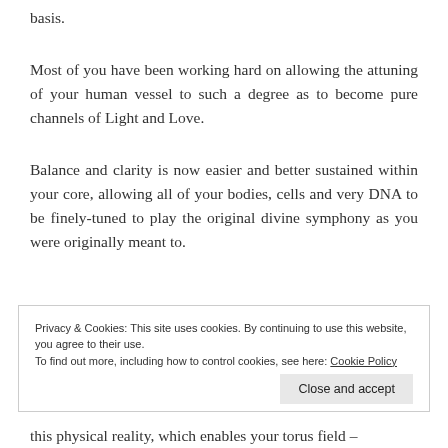basis.
Most of you have been working hard on allowing the attuning of your human vessel to such a degree as to become pure channels of Light and Love.
Balance and clarity is now easier and better sustained within your core, allowing all of your bodies, cells and very DNA to be finely-tuned to play the original divine symphony as you were originally meant to.
Privacy & Cookies: This site uses cookies. By continuing to use this website, you agree to their use.
To find out more, including how to control cookies, see here: Cookie Policy
[Close and accept button]
this physical reality, which enables your torus field –